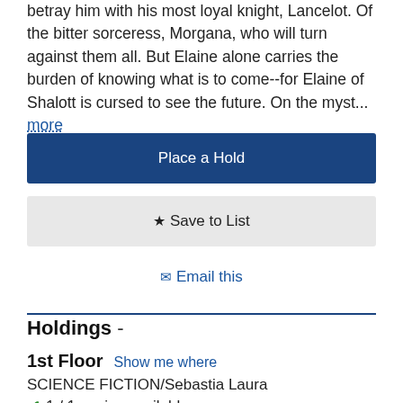betray him with his most loyal knight, Lancelot. Of the bitter sorceress, Morgana, who will turn against them all. But Elaine alone carries the burden of knowing what is to come--for Elaine of Shalott is cursed to see the future. On the myst... more
Place a Hold
★ Save to List
✉ Email this
Holdings -
1st Floor   Show me where
SCIENCE FICTION/Sebastia Laura
✓ 1 / 1 copies available
+ See all items